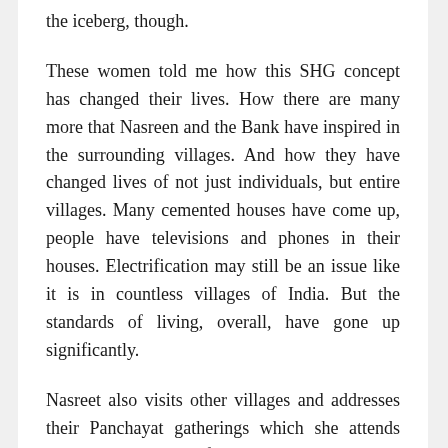the iceberg, though.
These women told me how this SHG concept has changed their lives. How there are many more that Nasreen and the Bank have inspired in the surrounding villages. And how they have changed lives of not just individuals, but entire villages. Many cemented houses have come up, people have televisions and phones in their houses. Electrification may still be an issue like it is in countless villages of India. But the standards of living, overall, have gone up significantly.
Nasreet also visits other villages and addresses their Panchayat gatherings which she attends with a representative from the Bank. She shares with them the success stories from her experience and encourages them, especially the womenfolk, to form SHGs and start such ventures of their own.